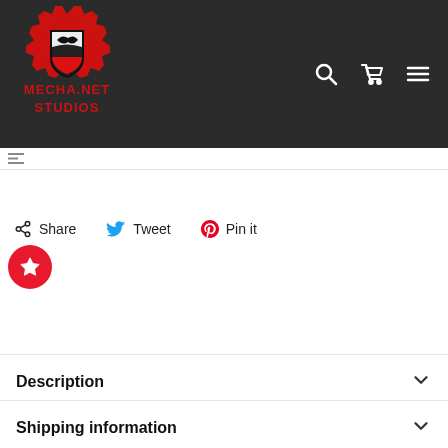[Figure (logo): Mecha.Net Studios logo — red gear with black shield and bird silhouette, red text MECHA.NET STUDIOS below]
Mecha.Net Studios navigation header with search, cart, and menu icons
Share   Tweet   Pin it
Description
Shipping information